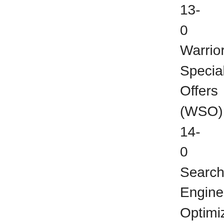13-
0
Warrior Special Offers (WSO)
14-
0
Search Engine Optimization (SEO)
15-
0
Instagram
16-
0
Tumblr